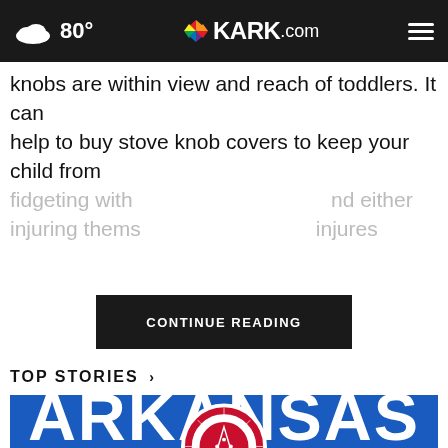80° KARK.com
knobs are within view and reach of toddlers. It can help to buy stove knob covers to keep your child from fidgeting with [CONTINUE READING overlay] and either injuring thems... injures
TOP STORIES ›
[Figure (photo): Arkansas Razorbacks jersey/uniform close-up showing the word ARKANSAS in white letters on a blue background with a circular logo]